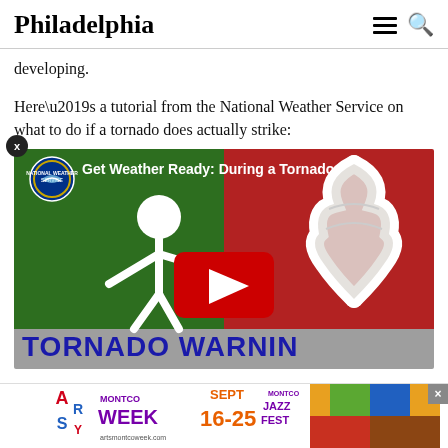Philadelphia
developing.
Here’s a tutorial from the National Weather Service on what to do if a tornado does actually strike:
[Figure (screenshot): YouTube video thumbnail titled 'Get Weather Ready: During a Tornado' showing a white stick figure on a green background and a tornado graphic on a red background, with a YouTube play button in the center and 'TORNADO WARNIN' text at the bottom. National Weather Service logo in top left.]
[Figure (other): Advertisement banner for Montco Week Sept 16-25, Montco Jazz Fest, artsmontcoweek.com]